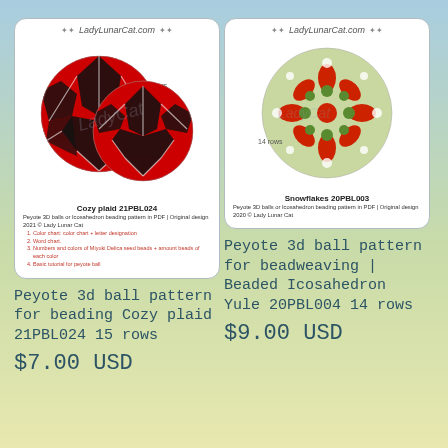[Figure (illustration): Product card for Cozy plaid 21PBL024 beading pattern showing two red and black plaid peyote balls on icosahedron form with LadyLunarCat.com header]
Peyote 3d ball pattern for beading Cozy plaid 21PBL024 15 rows
$7.00 USD
[Figure (illustration): Product card for Snowflakes 20PBL003 beading pattern showing a green and red snowflake peyote ball with LadyLunarCat.com header]
Peyote 3d ball pattern for beadweaving | Beaded Icosahedron Yule 20PBL004 14 rows
$9.00 USD